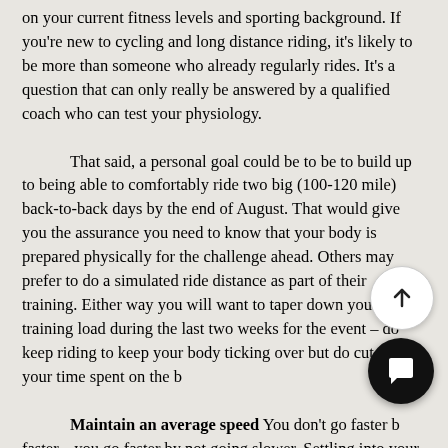on your current fitness levels and sporting background. If you're new to cycling and long distance riding, it's likely to be more than someone who already regularly rides. It's a question that can only really be answered by a qualified coach who can test your physiology.

That said, a personal goal could be to be to build up to being able to comfortably ride two big (100-120 mile) back-to-back days by the end of August. That would give you the assurance you need to know that your body is prepared physically for the challenge ahead. Others may prefer to do a simulated ride distance as part of their training. Either way you will want to taper down your training load during the last two weeks for the event – do keep riding to keep your body ticking over but do cut down your time spent on the b[…]

Maintain an average speed You don't go faster b[…] faster... you go faster by not going slower. Settling into your personal pace at the start and getting dialled into t[…]ge speed you can maintain in training is the best way […] yourself. Long stops kill your average speed, so stop only for as long as you need to properly refuel and rehydrate. Don't